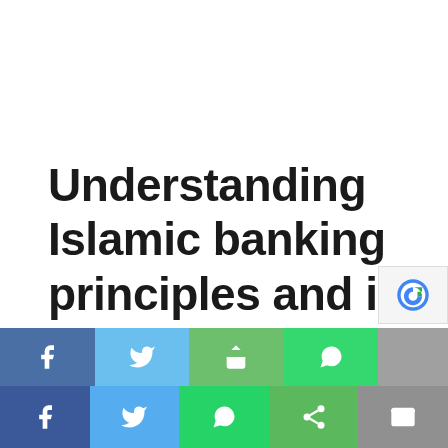Understanding Islamic banking principles and its application to investing
August 12, 2018 By KK
[Figure (other): Social media sharing buttons bar with Facebook, Twitter, Share, WhatsApp, and more icons in two rows at the bottom of the page. Top row partially visible. Bottom row fully visible. A reCAPTCHA badge appears in the top-right corner of the social bar.]